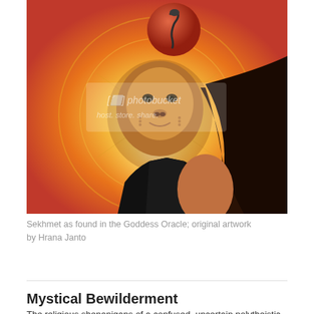[Figure (illustration): Painting of Sekhmet, a lion-headed deity with long dark hair, wearing a black garment, with a cobra and red/orange sphere on her head, set against a golden radiant sun-like background. A Photobucket watermark is visible on the image.]
Sekhmet as found in the Goddess Oracle; original artwork by Hrana Janto
Mystical Bewilderment
The religious shenanigans of a confused, uncertain polytheistic servant